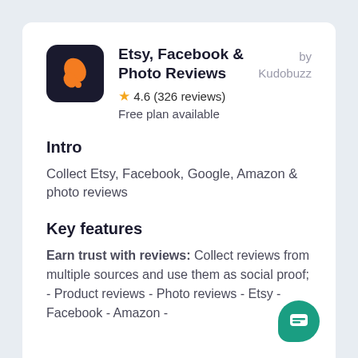Etsy, Facebook & Photo Reviews
by Kudobuzz
⭐ 4.6 (326 reviews)
Free plan available
Intro
Collect Etsy, Facebook, Google, Amazon & photo reviews
Key features
Earn trust with reviews: Collect reviews from multiple sources and use them as social proof; - Product reviews - Photo reviews - Etsy - Facebook - Amazon -